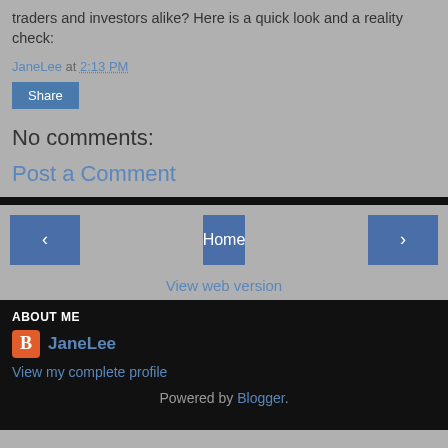traders and investors alike? Here is a quick look and a reality check:
JaneLee at 2:13 PM
Share
No comments:
Post a Comment
Home
View web version
ABOUT ME
JaneLee
View my complete profile
Powered by Blogger.